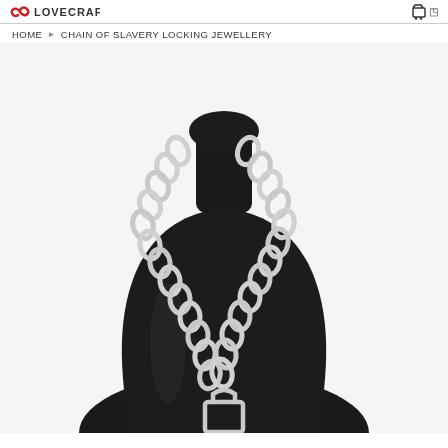LOVECRAFT [logo] [cart icon]
HOME › CHAIN OF SLAVERY LOCKING JEWELLERY
[Figure (photo): Product photo of a heavy silver chain link necklace with a padlock pendant, displayed on a black velvet jewelry bust/mannequin. The chain consists of large oval interlocking links arranged in a V-shape, with a rectangular padlock at the bottom center.]